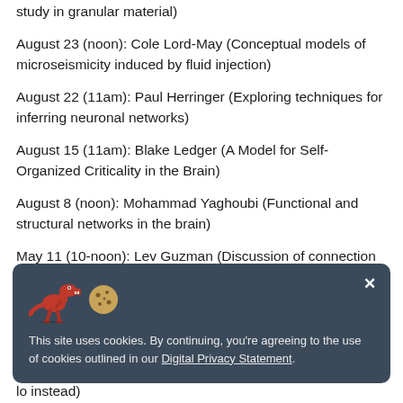study in granular material)
August 23 (noon): Cole Lord-May (Conceptual models of microseismicity induced by fluid injection)
August 22 (11am): Paul Herringer (Exploring techniques for inferring neuronal networks)
August 15 (11am): Blake Ledger (A Model for Self-Organized Criticality in the Brain)
August 8 (noon): Mohammad Yaghoubi (Functional and structural networks in the brain)
May 11 (10-noon): Lev Guzman (Discussion of connection between generalized dimensions from spatial and temporal data from seismic records)
[Figure (screenshot): Cookie consent banner with dark blue-grey background. Shows a red T-rex dinosaur icon and cookie icon. Text reads: 'This site uses cookies. By continuing, you’re agreeing to the use of cookies outlined in our Digital Privacy Statement.' with a close (x) button.]
lo instead)